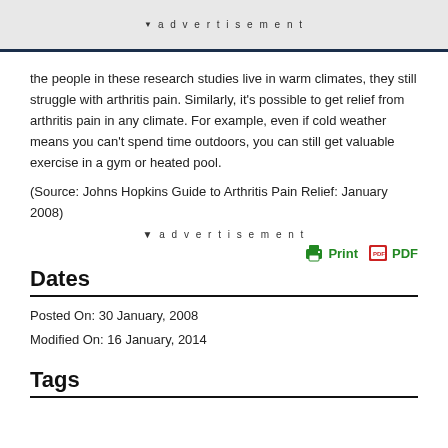advertisement
the people in these research studies live in warm climates, they still struggle with arthritis pain. Similarly, it’s possible to get relief from arthritis pain in any climate. For example, even if cold weather means you can’t spend time outdoors, you can still get valuable exercise in a gym or heated pool.
(Source: Johns Hopkins Guide to Arthritis Pain Relief: January 2008)
advertisement
Dates
Posted On: 30 January, 2008
Modified On: 16 January, 2014
Tags